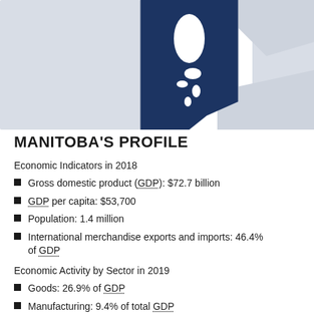[Figure (map): Map of Canadian provinces with Manitoba highlighted in dark navy blue, surrounded by lighter grey neighbouring provinces and territories.]
MANITOBA'S PROFILE
Economic Indicators in 2018
Gross domestic product (GDP): $72.7 billion
GDP per capita: $53,700
Population: 1.4 million
International merchandise exports and imports: 46.4% of GDP
Economic Activity by Sector in 2019
Goods: 26.9% of GDP
Manufacturing: 9.4% of total GDP